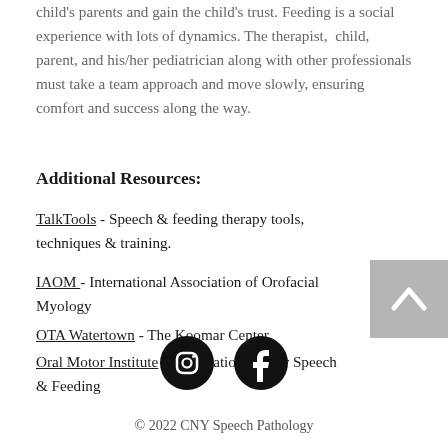child's parents and gain the child's trust. Feeding is a social experience with lots of dynamics. The therapist, child, parent, and his/her pediatrician along with other professionals must take a team approach and move slowly, ensuring comfort and success along the way.
Additional Resources:
TalkTools - Speech & feeding therapy tools, techniques & training.
IAOM - International Association of Orofacial Myology
OTA Watertown - The Koomar Center
Oral Motor Institute - Articulation, Motor Speech & Feeding
[Figure (illustration): Back to top button with upward arrow chevron on grey background]
[Figure (illustration): Instagram and Facebook social media icons in black circles]
© 2022 CNY Speech Pathology